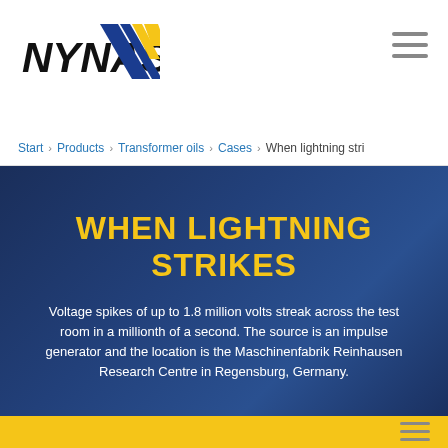[Figure (logo): NYNAS logo with bold black italic text and blue/yellow diagonal stripe graphic]
Start › Products › Transformer oils › Cases › When lightning stri
WHEN LIGHTNING STRIKES
Voltage spikes of up to 1.8 million volts streak across the test room in a millionth of a second. The source is an impulse generator and the location is the Maschinenfabrik Reinhausen Research Centre in Regensburg, Germany.